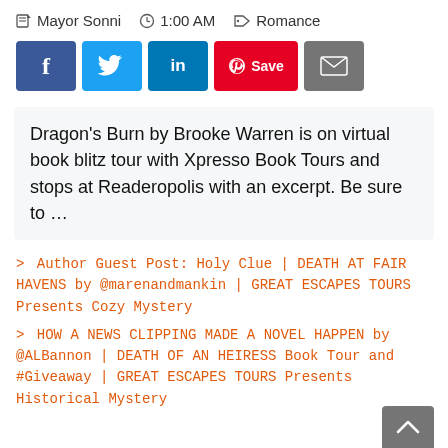Mayor Sonni   1:00 AM   Romance
[Figure (other): Social sharing buttons: Facebook (blue), Twitter (light blue), LinkedIn (dark blue), Pinterest Save (red), Email (gray)]
Dragon's Burn by Brooke Warren is on virtual book blitz tour with Xpresso Book Tours and stops at Readeropolis with an excerpt. Be sure to …
> Author Guest Post: Holy Clue | DEATH AT FAIR HAVENS by @marenandmankin | GREAT ESCAPES TOURS Presents Cozy Mystery
> HOW A NEWS CLIPPING MADE A NOVEL HAPPEN by @ALBannon | DEATH OF AN HEIRESS Book Tour and #Giveaway | GREAT ESCAPES TOURS Presents Historical Mystery